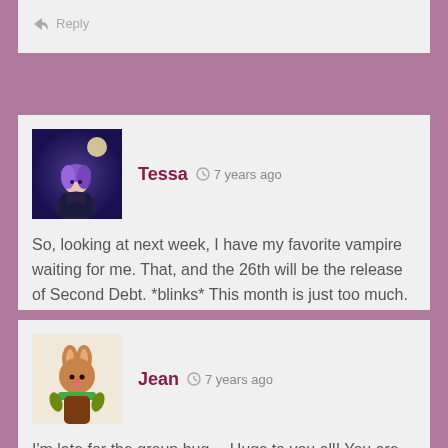Reply
[Figure (photo): Avatar of user Tessa: animated character with blue/purple hair against a dark blue background]
Tessa  7 years ago
So, looking at next week, I have my favorite vampire waiting for me. That, and the 26th will be the release of Second Debt. *blinks* This month is just too much. It made me poor.
Reply
[Figure (photo): Avatar of user Jean: cartoon rabbit/animal character in brown with green scarf]
Jean  7 years ago
I'm late for the group hug… Hugs to you all! You are like my daily therapy!